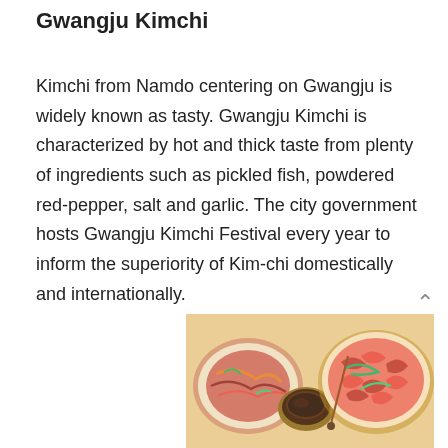Gwangju Kimchi
Kimchi from Namdo centering on Gwangju is widely known as tasty. Gwangju Kimchi is characterized by hot and thick taste from plenty of ingredients such as pickled fish, powdered red-pepper, salt and garlic. The city government hosts Gwangju Kimchi Festival every year to inform the superiority of Kim-chi domestically and internationally.
[Figure (photo): Photo of Gwangju Kimchi dishes — colorful plates of kimchi and side dishes with red-pepper sauce]